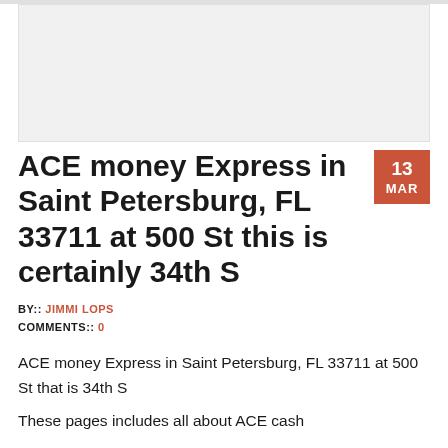[Figure (other): Advertisement placeholder box with light gray background]
ACE money Express in Saint Petersburg, FL 33711 at 500 St this is certainly 34th S
BY:: JIMMI LOPS
COMMENTS:: 0
ACE money Express in Saint Petersburg, FL 33711 at 500 St that is 34th S
These pages includes all about ACE cash